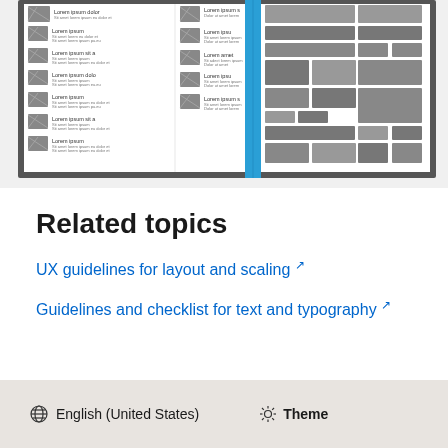[Figure (screenshot): Wireframe layout mockup showing a UI design with multiple panels: left panel with Lorem ipsum list items and small image placeholders, middle panel with Lorem ipsum content blocks and a blue vertical accent bar, right panel with gray content blocks arranged in a grid pattern.]
Related topics
UX guidelines for layout and scaling ↗
Guidelines and checklist for text and typography ↗
🌐 English (United States)   ☀ Theme